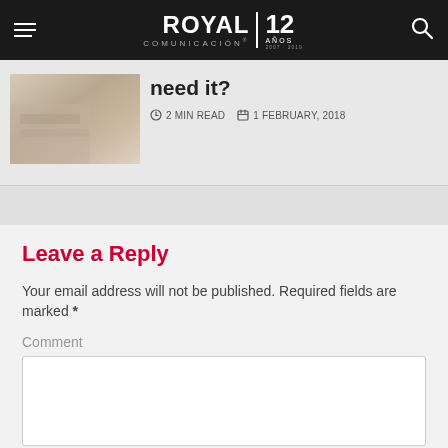Royal Comunicación — 12 Años
[Figure (photo): Thumbnail photo of a person, blurred close-up background]
need it?
2 MIN READ   1 FEBRUARY, 2018
Leave a Reply
Your email address will not be published. Required fields are marked *
Comment